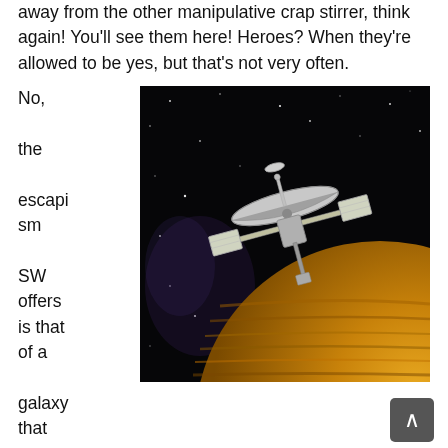away from the other manipulative crap stirrer, think again! You'll see them here! Heroes? When they're allowed to be yes, but that's not very often.
No, the escapism SW offers is that of a galaxy that we can see and
[Figure (photo): Illustration of a space probe or satellite spacecraft near a large golden-brown planetary body (possibly Jupiter or Saturn), set against a dark starry background. The spacecraft has large dish antenna, solar panels, and various instruments.]
imagine ourselves traveling in. Why does that